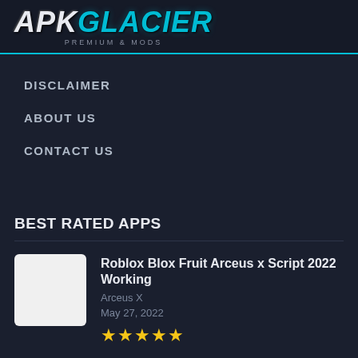[Figure (logo): APKGlacier logo — 'APK' in white italic bold, 'GLACIER' in cyan italic bold, subtitle 'PREMIUM & MODS' below in small caps grey text]
DISCLAIMER
ABOUT US
CONTACT US
BEST RATED APPS
Roblox Blox Fruit Arceus x Script 2022 Working
Arceus X
May 27, 2022
★★★★★